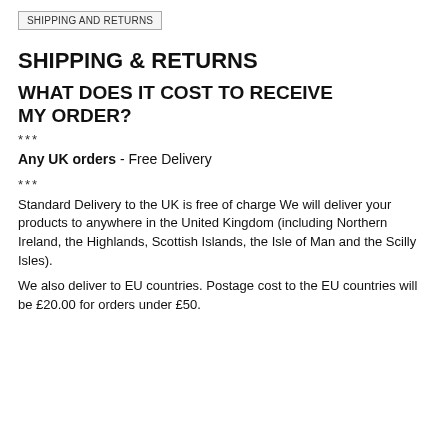SHIPPING AND RETURNS
SHIPPING & RETURNS
WHAT DOES IT COST TO RECEIVE MY ORDER?
***
Any UK orders - Free Delivery
***
Standard Delivery to the UK is free of charge We will deliver your products to anywhere in the United Kingdom (including Northern Ireland, the Highlands, Scottish Islands, the Isle of Man and the Scilly Isles).
We also deliver to EU countries. Postage cost to the EU countries will be £20.00 for orders under £50.